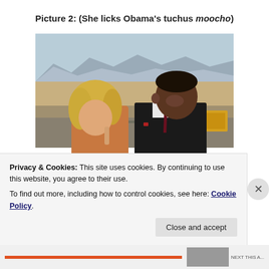Picture 2: (She licks Obama's tuchus moocho)
[Figure (photo): Two people facing each other closely at what appears to be an airport tarmac, with mountains visible in the background. One person has blonde hair, the other is wearing a dark suit with a tie.]
Privacy & Cookies: This site uses cookies. By continuing to use this website, you agree to their use.
To find out more, including how to control cookies, see here: Cookie Policy